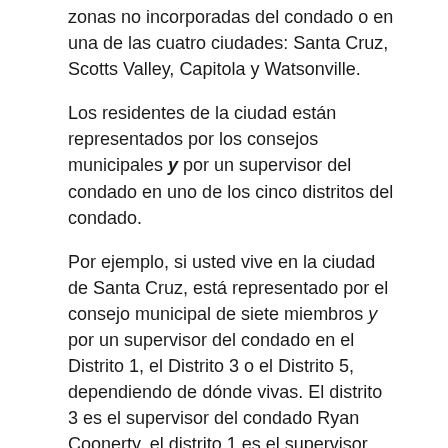zonas no incorporadas del condado o en una de las cuatro ciudades: Santa Cruz, Scotts Valley, Capitola y Watsonville.
Los residentes de la ciudad están representados por los consejos municipales y por un supervisor del condado en uno de los cinco distritos del condado.
Por ejemplo, si usted vive en la ciudad de Santa Cruz, está representado por el consejo municipal de siete miembros y por un supervisor del condado en el Distrito 1, el Distrito 3 o el Distrito 5, dependiendo de dónde vivas. El distrito 3 es el supervisor del condado Ryan Coonerty, el distrito 1 es el supervisor del condado Manu Koenig y el distrito 5 es el supervisor del condado Bruce McPherson.
Si usted vive fuera de los límites de la ciudad -conocida como las áreas no incorporadas del condado- entonces sólo está representado por el supervisor del condado en ese distrito.